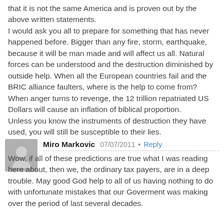that it is not the same America and is proven out by the above written statements.
I would ask you all to prepare for something that has never happened before. Bigger than any fire, storm, earthquake, because it will be man made and will affect us all. Natural forces can be understood and the destruction diminished by outside help. When all the European countries fail and the BRIC alliance faulters, where is the help to come from? When anger turns to revenge, the 12 trillion repatriated US Dollars will cause an inflation of biblical proportion.
Unless you know the instruments of destruction they have used, you will still be susceptible to their lies.
Miro Markovic  07/07/2011  Reply
Wow, if all of these predictions are true what I was reading here about, then we, the ordinary tax payers, are in a deep trouble. May good God help to all of us having nothing to do with unfortunate mistakes that our Goverment was making over the period of last several decades.